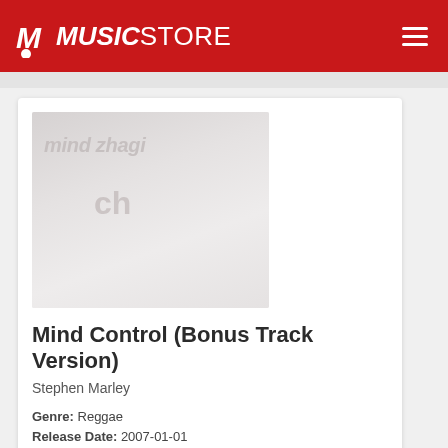MUSICSTORE
[Figure (illustration): Album art placeholder with faded text overlay showing album artwork for Mind Control (Bonus Track Version) by Stephen Marley]
Mind Control (Bonus Track Version)
Stephen Marley
Genre: Reggae
Release Date: 2007-01-01